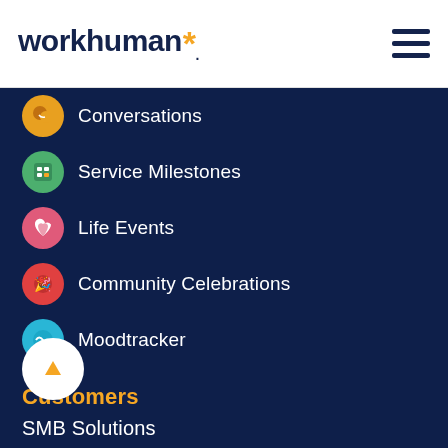workhuman* [hamburger menu icon]
Conversations
Service Milestones
Life Events
Community Celebrations
Moodtracker
Customers
SMB Solutions
Team Awards Program
Resources
Blog
Events & Programs